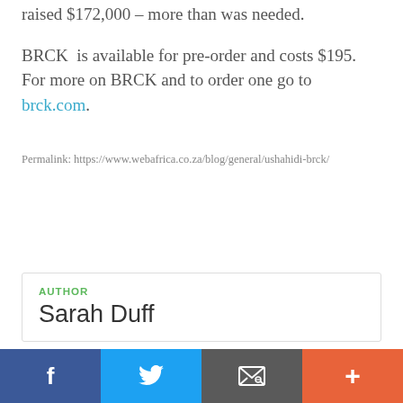raised $172,000 — more than was needed.
BRCK is available for pre-order and costs $195. For more on BRCK and to order one go to brck.com.
Permalink: https://www.webafrica.co.za/blog/general/ushahidi-brck/
AUTHOR
Sarah Duff
[Figure (infographic): Social sharing bar with Facebook, Twitter, email, and more buttons]